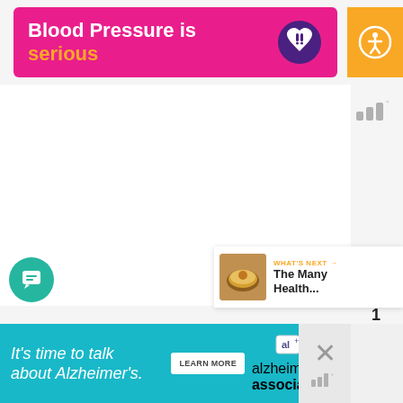[Figure (infographic): Pink banner advertisement: 'Blood Pressure is serious' with yellow text on 'serious', and a purple heart icon with exclamation marks]
[Figure (infographic): Yellow accessibility button with circular person icon on right side]
[Figure (infographic): Wemo-style signal bars logo with degree symbol in gray, top right]
[Figure (infographic): Orange circular like/favorite heart button]
1
[Figure (infographic): White circular share button with share icon]
[Figure (infographic): Teal circular chat/message button, bottom left]
[Figure (infographic): What's Next panel showing honey/tea image thumbnail with label 'WHAT'S NEXT →' and title 'The Many Health...']
[Figure (infographic): Teal bottom banner ad: 'It's time to talk about Alzheimer's.' with Learn More button and Alzheimer's Association logo]
[Figure (infographic): Close X button and Wemo logo in gray on bottom right area]